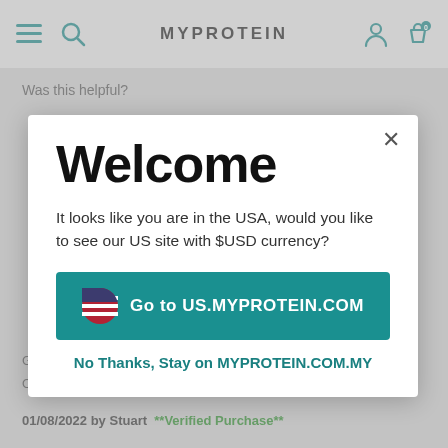MYPROTEIN
Was this helpful?
Welcome
It looks like you are in the USA, would you like to see our US site with $USD currency?
Go to US.MYPROTEIN.COM
No Thanks, Stay on MYPROTEIN.COM.MY
Goes Well With:
On its own great taste full of protein
01/08/2022 by Stuart  **Verified Purchase**